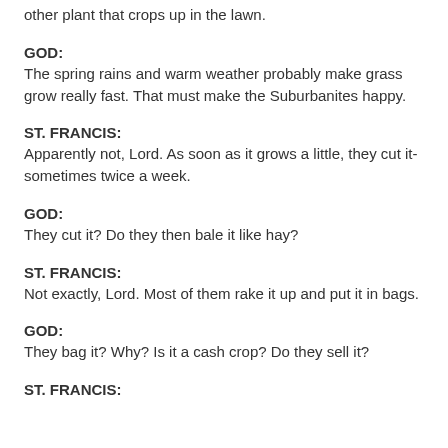other plant that crops up in the lawn.
GOD:
The spring rains and warm weather probably make grass grow really fast. That must make the Suburbanites happy.
ST. FRANCIS:
Apparently not, Lord. As soon as it grows a little, they cut it- sometimes twice a week.
GOD:
They cut it? Do they then bale it like hay?
ST. FRANCIS:
Not exactly, Lord. Most of them rake it up and put it in bags.
GOD:
They bag it? Why? Is it a cash crop? Do they sell it?
ST. FRANCIS: